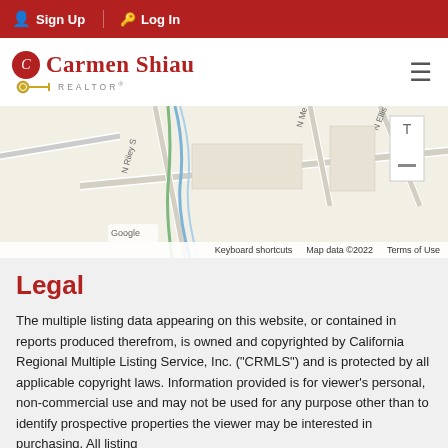Sign Up | Log In
[Figure (logo): Carmen Shiau Realtor logo with red circular C emblem, red serif text 'Carmen Shiau', gold key icon, and 'REALTOR®' text]
[Figure (map): Google Maps screenshot showing street map with N Riley St, W Sumner Ave, N Me[adow], N Ellis St streets visible]
Keyboard shortcuts   Map data ©2022   Terms of Use
Legal
The multiple listing data appearing on this website, or contained in reports produced therefrom, is owned and copyrighted by California Regional Multiple Listing Service, Inc. ("CRMLS") and is protected by all applicable copyright laws. Information provided is for viewer's personal, non-commercial use and may not be used for any purpose other than to identify prospective properties the viewer may be interested in purchasing. All listing